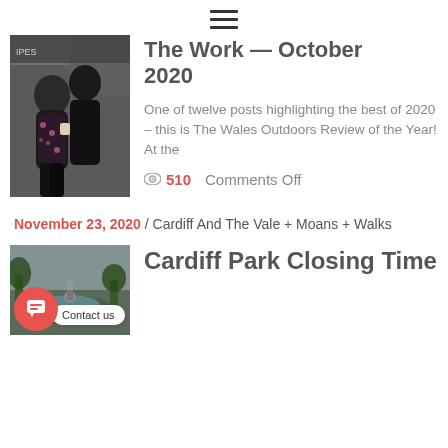≡ (hamburger menu icon)
The Work — October 2020
One of twelve posts highlighting the best of 2020 – this is The Wales Outdoors Review of the Year! At the
👁 510   Comments Off
November 23, 2020 / Cardiff And The Vale + Moans + Walks
Cardiff Park Closing Time